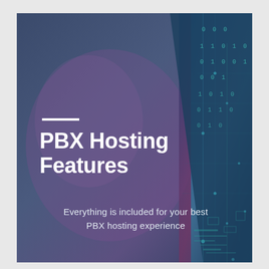[Figure (illustration): Dark blue/purple gradient background with digital circuit board and binary code (0s and 1s) visual elements on the right side, suggesting a technology/hosting theme]
PBX Hosting Features
Everything is included for your best PBX hosting experience